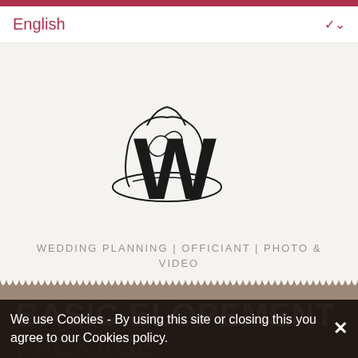English
[Figure (logo): Wedding planning logo: a cowboy hat overlaid with a large bold W, with text 'WEDDING PLANNING | OFFICIANT | PHOTO & VIDEO' below]
BASIC ELOPEMENT PACKAGE
We use Cookies - By using this site or closing this you agree to our Cookies policy.